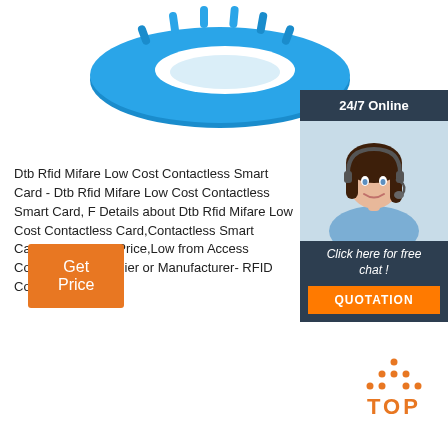[Figure (photo): Blue RFID ring/wristband product photo against white background]
[Figure (photo): Sidebar widget: 24/7 Online banner with customer service representative photo, 'Click here for free chat!' text and orange QUOTATION button]
Dtb Rfid Mifare Low Cost Contactless Smart Card - Dtb Rfid Mifare Low Cost Contactless Smart Card, Find Details about Dtb Rfid Mifare Low Cost Contactless Card,Contactless Smart Card,Mifare Card Price,Low from Access Control Card Supplier or Manufacturer- RFID Co., Ltd.
Get Price
[Figure (logo): Orange TOP badge with dots above the letters]